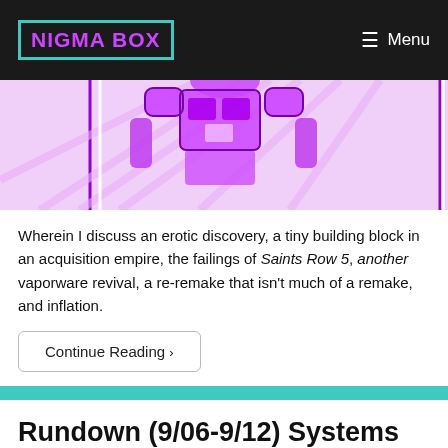NIGMA BOX | Menu
[Figure (illustration): Purple/pink manga-style illustration of a robot or armored character with radiating lines in the background, cropped at the top]
Wherein I discuss an erotic discovery, a tiny building block in an acquisition empire, the failings of Saints Row 5, another vaporware revival, a re-remake that isn't much of a remake, and inflation.
Continue Reading ›
Rundown (9/06-9/12) Systems of Frustration